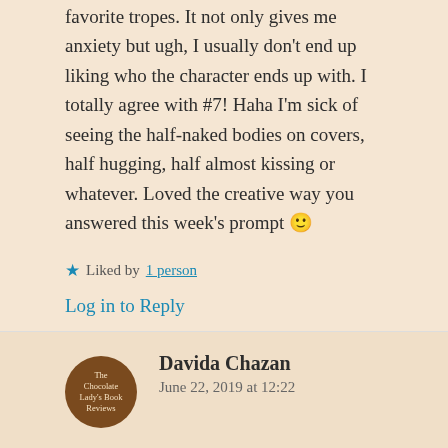favorite tropes. It not only gives me anxiety but ugh, I usually don't end up liking who the character ends up with. I totally agree with #7! Haha I'm sick of seeing the half-naked bodies on covers, half hugging, half almost kissing or whatever. Loved the creative way you answered this week's prompt 🙂
★ Liked by 1 person
Log in to Reply
Davida Chazan
June 22, 2019 at 12:22